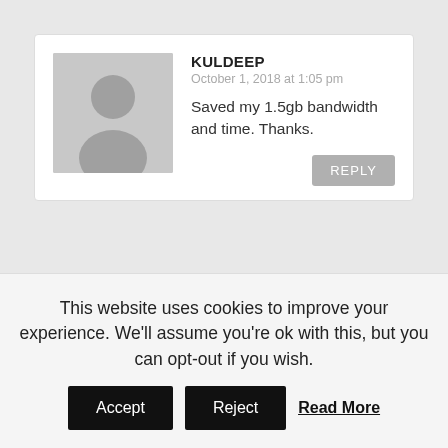[Figure (illustration): Generic user avatar silhouette in gray]
KULDEEP
October 1, 2018 at 1:05 pm
Saved my 1.5gb bandwidth and time. Thanks.
REPLY
[Figure (photo): User profile photo for KAOSMAX4U]
KAOSMAX4U
June 15, 2018 at 1:17 am
For VLC 3.0.3, there's no “Force aspect ...” in the Video section. Put 32:9 in the “Custom
This website uses cookies to improve your experience. We'll assume you're ok with this, but you can opt-out if you wish.
Accept
Reject
Read More